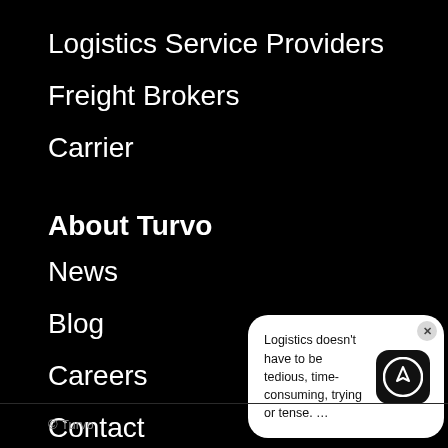Logistics Service Providers
Freight Brokers
Carrier
About Turvo
News
Blog
Careers
Contact
Help Center
[Figure (screenshot): Chat popup with Turvo logo showing message: Logistics doesn't have to be tedious, time-consuming, trying or tense. …]
© Turvo